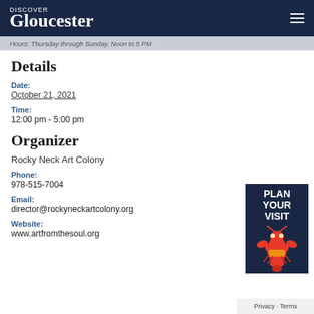Discover Gloucester
Hours: Thursday through Sunday, Noon to 5 PM
Details
Date:
October 21, 2021
Time:
12:00 pm - 5:00 pm
Organizer
Rocky Neck Art Colony
Phone:
978-515-7004
Email:
director@rockyneckartcolony.org
Website:
www.artfromthesoul.org
[Figure (illustration): Plan Your Visit promotional box with lobster mascot character]
Privacy · Terms